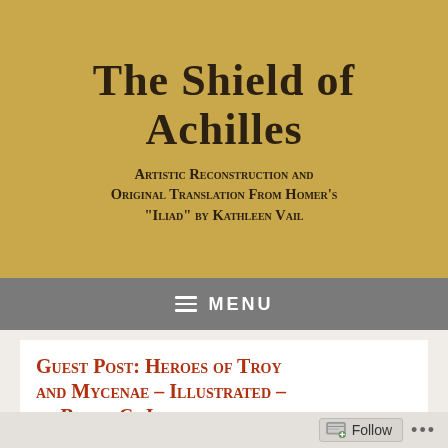THE SHIELD OF ACHILLES
Artistic Reconstruction and Original Translation From Homer's "Iliad" by Kathleen Vail
[Figure (screenshot): Navigation menu bar with hamburger icon and MENU text on grey background]
Guest Post: Heroes of Troy and Mycenae – Illustrated – by Barry C. Jacobsen
4 COMMENTS